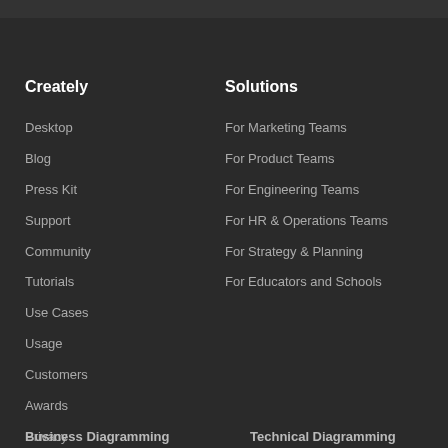Creately
Desktop
Blog
Press Kit
Support
Community
Tutorials
Use Cases
Usage
Customers
Awards
Privacy
Security
ToS
Business Diagramming
Solutions
For Marketing Teams
For Product Teams
For Engineering Teams
For HR & Operations Teams
For Strategy & Planning
For Educators and Schools
Technical Diagramming